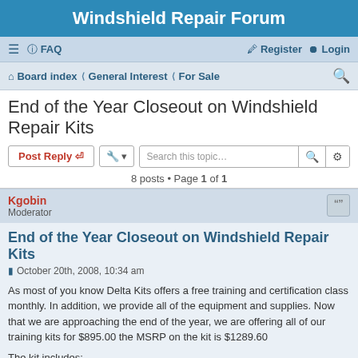Windshield Repair Forum
≡  FAQ    Register  Login
Board index  General Interest  For Sale
End of the Year Closeout on Windshield Repair Kits
Post Reply  [tools]  Search this topic...  8 posts • Page 1 of 1
Kgobin
Moderator
End of the Year Closeout on Windshield Repair Kits
October 20th, 2008, 10:34 am
As most of you know Delta Kits offers a free training and certification class monthly. In addition, we provide all of the equipment and supplies. Now that we are approaching the end of the year, we are offering all of our training kits for $895.00 the MSRP on the kit is $1289.60
The kit includes: